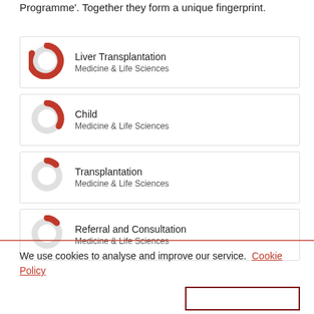Programme'. Together they form a unique fingerprint.
Liver Transplantation — Medicine & Life Sciences
Child — Medicine & Life Sciences
Transplantation — Medicine & Life Sciences
Referral and Consultation — Medicine & Life Sciences
We use cookies to analyse and improve our service. Cookie Policy